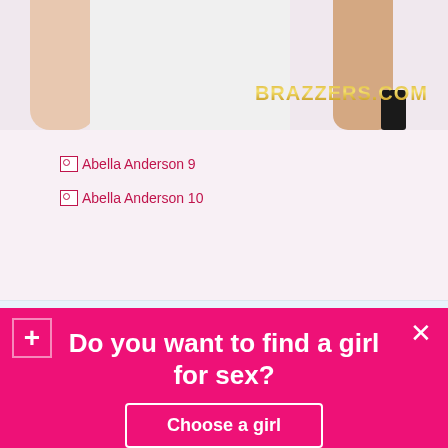[Figure (photo): Partial view of a person wearing a white shirt, with a Brazzers.com watermark in the upper right of the photo area]
[Abella Anderson 9
[Abella Anderson 10
Do you want to find a girl for sex?
Choose a girl